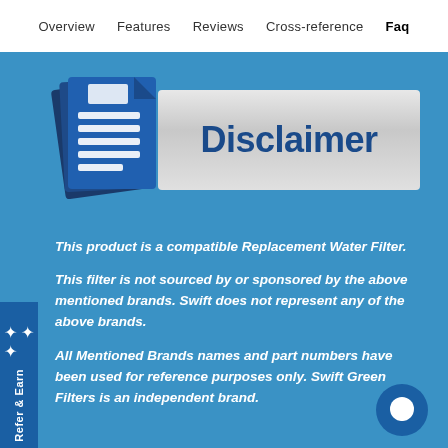Overview   Features   Reviews   Cross-reference   Faq
[Figure (illustration): Disclaimer banner with document icon on left (stacked blue pages with white lines) and a silver/gray banner on right with bold blue 'Disclaimer' text]
This product is a compatible Replacement Water Filter.
This filter is not sourced by or sponsored by the above mentioned brands. Swift does not represent any of the above brands.
All Mentioned Brands names and part numbers have been used for reference purposes only. Swift Green Filters is an independent brand.